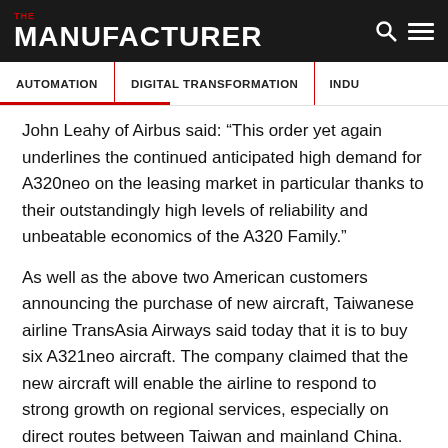THE MANUFACTURER
AUTOMATION | DIGITAL TRANSFORMATION | INDU...
John Leahy of Airbus said: “This order yet again underlines the continued anticipated high demand for A320neo on the leasing market in particular thanks to their outstandingly high levels of reliability and unbeatable economics of the A320 Family.”
As well as the above two American customers announcing the purchase of new aircraft, Taiwanese airline TransAsia Airways said today that it is to buy six A321neo aircraft. The company claimed that the new aircraft will enable the airline to respond to strong growth on regional services, especially on direct routes between Taiwan and mainland China.